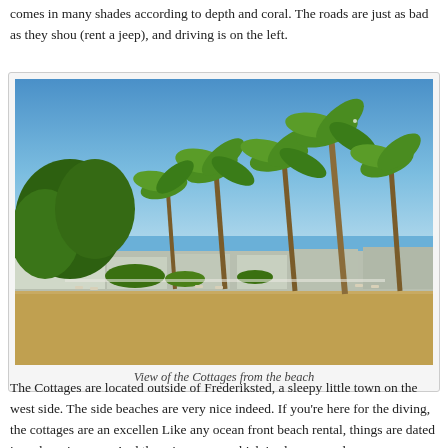comes in many shades according to depth and coral. The roads are just as bad as they shou (rent a jeep), and driving is on the left.
[Figure (photo): View of beach cottages from the sandy beach, with palm trees and lush vegetation behind the low white buildings under a clear blue sky.]
View of the Cottages from the beach
The Cottages are located outside of Frederiksted, a sleepy little town on the west side. The side beaches are very nice indeed. If you're here for the diving, the cottages are an excellen Like any ocean front beach rental, things are dated in a charming way. And there is reasona which is always good.